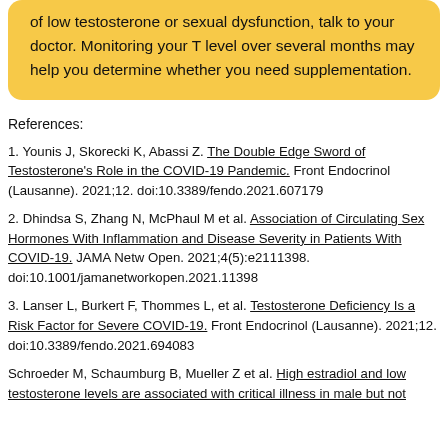of low testosterone or sexual dysfunction, talk to your doctor. Monitoring your T level over several months may help you determine whether you need supplementation.
References:
1. Younis J, Skorecki K, Abassi Z. The Double Edge Sword of Testosterone's Role in the COVID-19 Pandemic. Front Endocrinol (Lausanne). 2021;12. doi:10.3389/fendo.2021.607179
2. Dhindsa S, Zhang N, McPhaul M et al. Association of Circulating Sex Hormones With Inflammation and Disease Severity in Patients With COVID-19. JAMA Netw Open. 2021;4(5):e2111398. doi:10.1001/jamanetworkopen.2021.11398
3. Lanser L, Burkert F, Thommes L, et al. Testosterone Deficiency Is a Risk Factor for Severe COVID-19. Front Endocrinol (Lausanne). 2021;12. doi:10.3389/fendo.2021.694083
Schroeder M, Schaumburg B, Mueller Z et al. High estradiol and low testosterone levels are associated with critical illness in male but not...